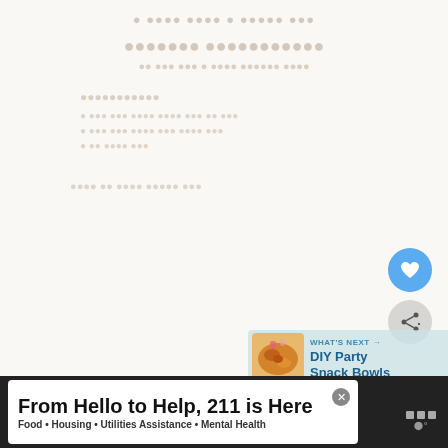[Figure (screenshot): Faded/blurred recipe page background with partially visible recipe title and ingredients text in muted tan/beige tones]
[Figure (other): Blue circular heart/love button (favorite action)]
[Figure (other): Gray circular share button with plus icon]
[Figure (other): WHAT'S NEXT panel showing a food image thumbnail and text 'DIY Party Snack Bowls' on a light blue-green background]
From Hello to Help, 211 is Here
Food • Housing • Utilities Assistance • Mental Health